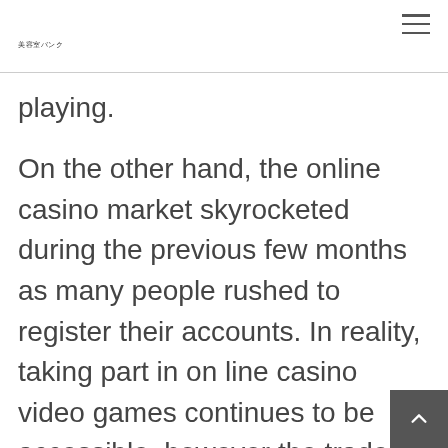美容室バンク
playing.
On the other hand, the online casino market skyrocketed during the previous few months as many people rushed to register their accounts. In reality, taking part in on line casino video games continues to be accessible, however the trade moved its activities on-line. The competitors in the market turned so huge that operators try to attract as many customers as attainable with their